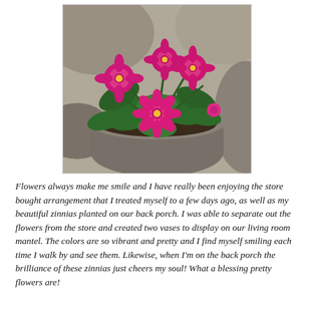[Figure (photo): A potted plant with bright pink zinnia flowers and large green leaves, sitting in a stone or concrete pot, surrounded by rocks in the background.]
Flowers always make me smile and I have really been enjoying the store bought arrangement that I treated myself to a few days ago, as well as my beautiful zinnias planted on our back porch. I was able to separate out the flowers from the store and created two vases to display on our living room mantel. The colors are so vibrant and pretty and I find myself smiling each time I walk by and see them. Likewise, when I'm on the back porch the brilliance of these zinnias just cheers my soul! What a blessing pretty flowers are!